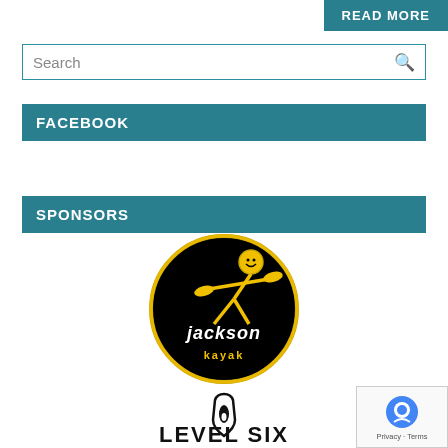READ MORE
Search
FACEBOOK
SPONSORS
[Figure (logo): Jackson Kayak circular logo: black circle with yellow stick figure paddling a kayak and text 'jackson kayak' in yellow/white]
[Figure (logo): Level Six logo with stylized paddle icon and bold text 'LEVEL SIX']